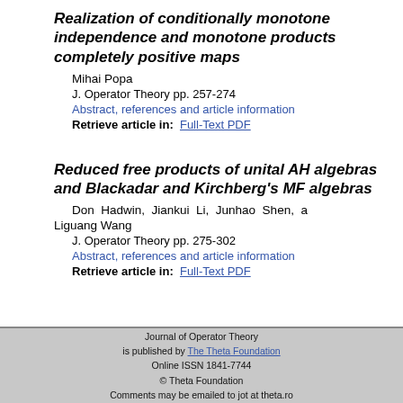Realization of conditionally monotone independence and monotone products completely positive maps
Mihai Popa
J. Operator Theory pp. 257-274
Abstract, references and article information
Retrieve article in:  Full-Text PDF
Reduced free products of unital AH algebras and Blackadar and Kirchberg's MF algebras
Don Hadwin, Jiankui Li, Junhao Shen, and Liguang Wang
J. Operator Theory pp. 275-302
Abstract, references and article information
Retrieve article in:  Full-Text PDF
Journal of Operator Theory
is published by The Theta Foundation
Online ISSN 1841-7744
© Theta Foundation
Comments may be emailed to jot at theta.ro